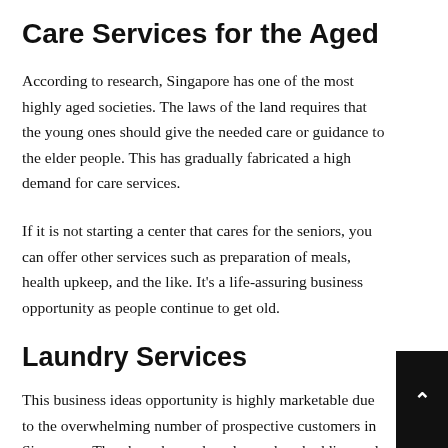Care Services for the Aged
According to research, Singapore has one of the most highly aged societies. The laws of the land requires that the young ones should give the needed care or guidance to the elder people. This has gradually fabricated a high demand for care services.
If it is not starting a center that cares for the seniors, you can offer other services such as preparation of meals, health upkeep, and the like. It’s a life-assuring business opportunity as people continue to get old.
Laundry Services
This business ideas opportunity is highly marketable due to the overwhelming number of prospective customers in Singapore. They have heavy laundry such as bedding and curtains that can’t